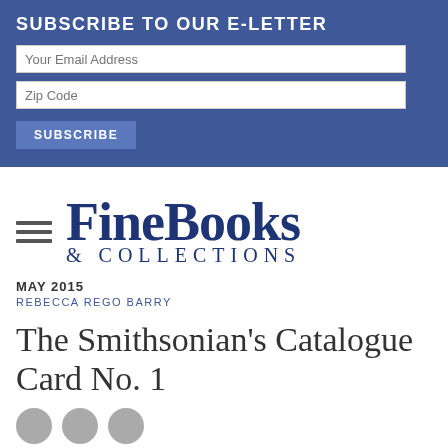SUBSCRIBE TO OUR E-LETTER
Your Email Address
Zip Code
SUBSCRIBE
[Figure (logo): FineBooks & Collections logo with hamburger menu icon]
MAY 2015
REBECCA REGO BARRY
The Smithsonian's Catalogue Card No. 1